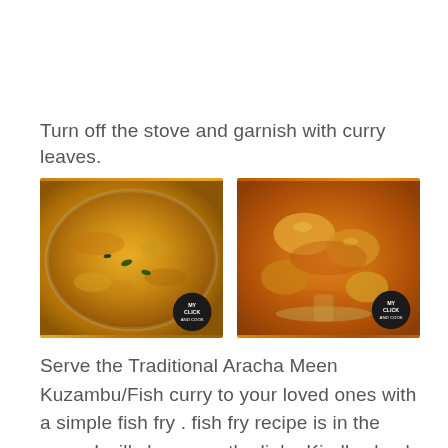Turn off the stove and garnish with curry leaves.
[Figure (photo): Bowl of golden-brown fish curry (Aracha Meen Kuzambu) with curry leaves floating on top, viewed from above. Has a circular watermark badge reading MY CLICK AND COOK.]
[Figure (photo): Close-up of fish pieces in orange-red curry sauce with a spoon, viewed from above. Has a circular watermark badge reading MY CLICK AND COOK.]
Serve the Traditional Aracha Meen Kuzambu/Fish curry to your loved ones with a simple fish fry . fish fry recipe is in the page, I will share you the link . Kindly check it. =>>>Fish fry